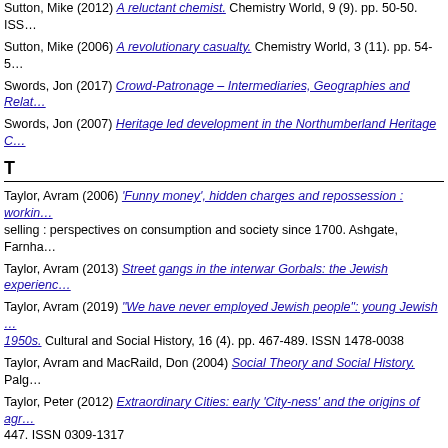Sutton, Mike (2012) A reluctant chemist. Chemistry World, 9 (9). pp. 50-50. ISS…
Sutton, Mike (2006) A revolutionary casualty. Chemistry World, 3 (11). pp. 54-5…
Swords, Jon (2017) Crowd-Patronage – Intermediaries, Geographies and Relat…
Swords, Jon (2007) Heritage led development in the Northumberland Heritage C…
T
Taylor, Avram (2006) 'Funny money', hidden charges and repossession : workin… selling : perspectives on consumption and society since 1700. Ashgate, Farnha…
Taylor, Avram (2013) Street gangs in the interwar Gorbals: the Jewish experienc…
Taylor, Avram (2019) "We have never employed Jewish people": young Jewish … 1950s. Cultural and Social History, 16 (4). pp. 467-489. ISSN 1478-0038
Taylor, Avram and MacRaild, Don (2004) Social Theory and Social History. Palg…
Taylor, Peter (2012) Extraordinary Cities: early 'City-ness' and the origins of agr… 447. ISSN 0309-1317
Taylor, Peter (2013) Extraordinary cities: Millennia of moral syndromes, world-sy…
Taylor, Peter, Hoyler, Michael and Evans, David M. (2008) A geohistorical study… 1500–1900. Minerva, 46 (4). pp. 391-410. ISSN 0026-4695
Temple, Liam Peter (2015) Holy and Peculiar People: Mysticks and Mystical Th…
Terry, Richard (2019) Tristram Shandy in the Age of Insurance. Journal for Eight…